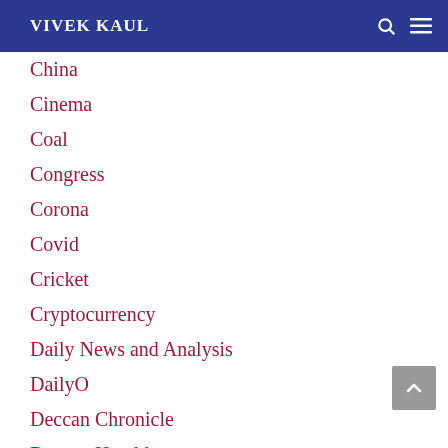VIVEK KAUL
China
Cinema
Coal
Congress
Corona
Covid
Cricket
Cryptocurrency
Daily News and Analysis
DailyO
Deccan Chronicle
Deccan Herald
Democracy